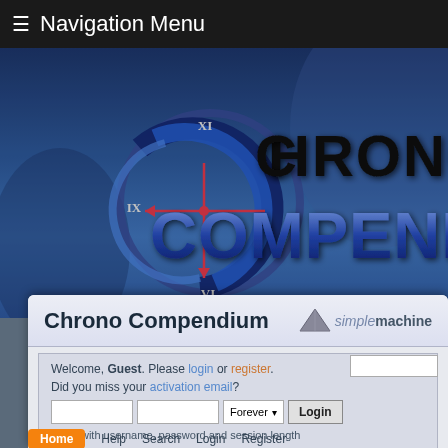≡ Navigation Menu
[Figure (screenshot): Chrono Compendium website banner with clock logo and stylized text reading CHRONO COMPENDIUM on a blue gradient background]
Chrono Compendium
[Figure (logo): Simple Machines Forum logo - triangle/pyramid icon with 'simplemachine' text]
Welcome, Guest. Please login or register. Did you miss your activation email?
Login with username, password and session length
Home
Help
Search
Login
Register